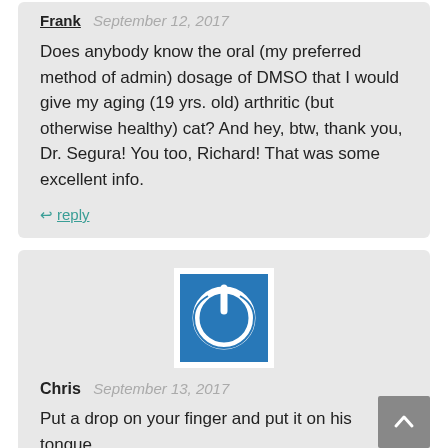Frank  September 12, 2017
Does anybody know the oral (my preferred method of admin) dosage of DMSO that I would give my aging (19 yrs. old) arthritic (but otherwise healthy) cat? And hey, btw, thank you, Dr. Segura! You too, Richard! That was some excellent info.
reply
[Figure (logo): Blue power button icon on white background]
Chris  September 13, 2017
Put a drop on your finger and put it on his tongue